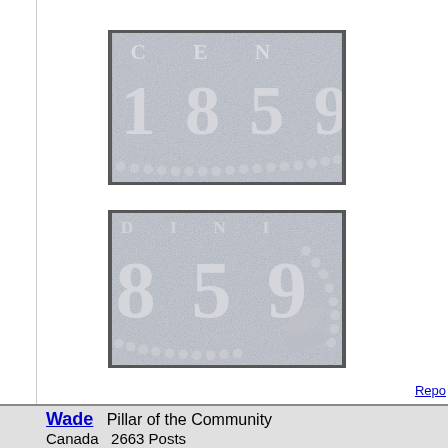[Figure (photo): Close-up photograph of a coin showing the date 1859 with raised digits on a textured silver/gray surface, with a beaded border visible at the bottom.]
[Figure (photo): Close-up photograph of a coin showing the date 859 (partial, starting from '8') with raised digits on a textured silver/gray surface, with a beaded border and decorative elements visible.]
Repo
Wade   Pillar of the Community
Canada   2663 Posts